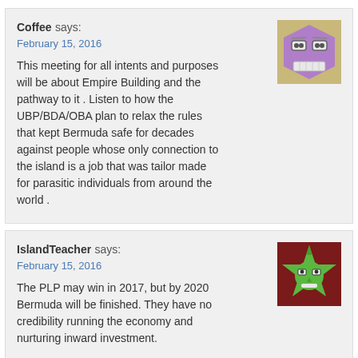Coffee says:
February 15, 2016
This meeting for all intents and purposes will be about Empire Building and the pathway to it . Listen to how the UBP/BDA/OBA plan to relax the rules that kept Bermuda safe for decades against people whose only connection to the island is a job that was tailor made for parasitic individuals from around the world .
IslandTeacher says:
February 15, 2016
The PLP may win in 2017, but by 2020 Bermuda will be finished. They have no credibility running the economy and nurturing inward investment.
sure. says:
February 16, 2016